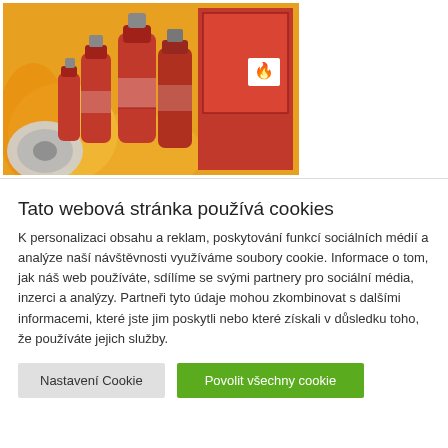[Figure (photo): Photo of multiple red fire extinguishers of various sizes grouped together, with a fire hose reel on the left and a red fire safety cabinet on the right. Yellow/orange flames visible in the background.]
Tato webová stránka používá cookies
K personalizaci obsahu a reklam, poskytování funkcí sociálních médií a analýze naší návštěvnosti využíváme soubory cookie. Informace o tom, jak náš web používáte, sdílíme se svými partnery pro sociální média, inzerci a analýzy. Partneři tyto údaje mohou zkombinovat s dalšími informacemi, které jste jim poskytli nebo které získali v důsledku toho, že používáte jejich služby.
Nastavení Cookie
Povolit všechny cookie